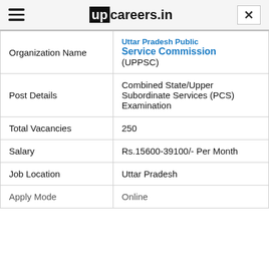upcareers.in
| Field | Value |
| --- | --- |
| Organization Name | Uttar Pradesh Public Service Commission (UPPSC) |
| Post Details | Combined State/Upper Subordinate Services (PCS) Examination |
| Total Vacancies | 250 |
| Salary | Rs.15600-39100/- Per Month |
| Job Location | Uttar Pradesh |
| Apply Mode | Online |